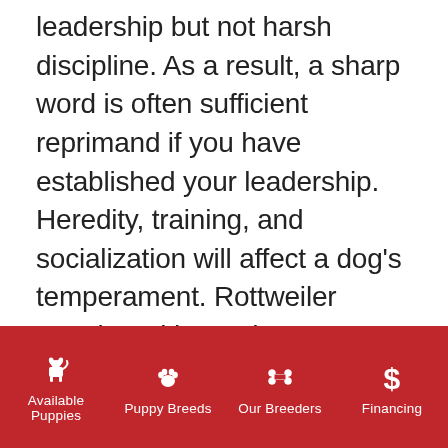leadership but not harsh discipline. As a result, a sharp word is often sufficient reprimand if you have established your leadership. Heredity, training, and socialization will affect a dog's temperament. Rottweiler puppies with good temperaments are curious and playful, willing to approach people and be held by them. Exposure to many different people, sights, sounds, and experiences when they're young is a good way to sharpen their socialization skills and ensure they grow up to be a well-rounded dog.
Available Puppies | Puppy Breeds | Our Breeders | Financing